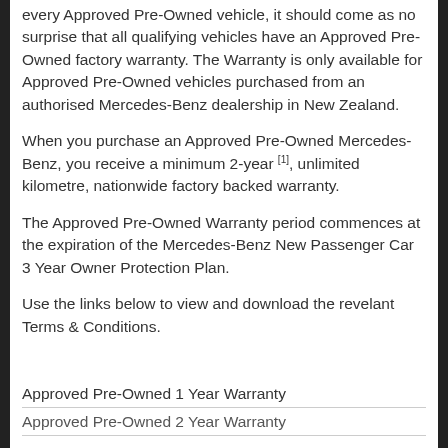every Approved Pre-Owned vehicle, it should come as no surprise that all qualifying vehicles have an Approved Pre-Owned factory warranty. The Warranty is only available for Approved Pre-Owned vehicles purchased from an authorised Mercedes-Benz dealership in New Zealand.
When you purchase an Approved Pre-Owned Mercedes-Benz, you receive a minimum 2-year [1], unlimited kilometre, nationwide factory backed warranty.
The Approved Pre-Owned Warranty period commences at the expiration of the Mercedes-Benz New Passenger Car 3 Year Owner Protection Plan.
Use the links below to view and download the revelant Terms & Conditions.
Approved Pre-Owned 1 Year Warranty
Approved Pre-Owned 2 Year Warranty